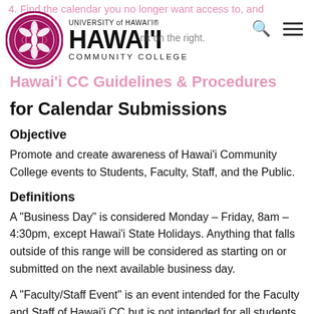University of Hawai'i – Hawai'i Community College
Hawai'i CC Guidelines & Procedures for Calendar Submissions
Objective
Promote and create awareness of Hawai'i Community College events to Students, Faculty, Staff, and the Public.
Definitions
A "Business Day" is considered Monday – Friday, 8am – 4:30pm, except Hawai'i State Holidays. Anything that falls outside of this range will be considered as starting on or submitted on the next available business day.
A "Faculty/Staff Event" is an event intended for the Faculty and Staff of Hawai'i CC but is not intended for all students and the general public. Examples include: All-College